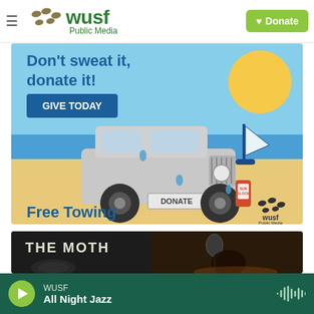WUSF Public Media — navigation bar with Donate button
[Figure (illustration): WUSF Public Media car donation advertisement: 'Don't sweat it, donate it!' with jeep on beach, GIVE TODAY button, Free Towing text, sun block bottle, WUSF logo]
[Figure (photo): The Moth podcast/show promotional image with microphone and performer]
WUSF — All Night Jazz (audio player bar with play button and waveform icon)